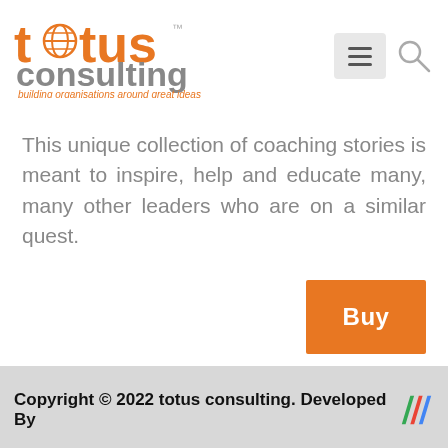[Figure (logo): Totus Consulting logo with orange stylized globe in 'o', orange text 'totus' and grey text 'consulting', tagline 'building organisations around great ideas']
[Figure (other): Hamburger menu button (three horizontal lines) and search magnifier icon in header navigation area]
This unique collection of coaching stories is meant to inspire, help and educate many, many other leaders who are on a similar quest.
[Figure (other): Orange 'Buy' button]
Copyright © 2022 totus consulting. Developed By [Arimetrics logo]